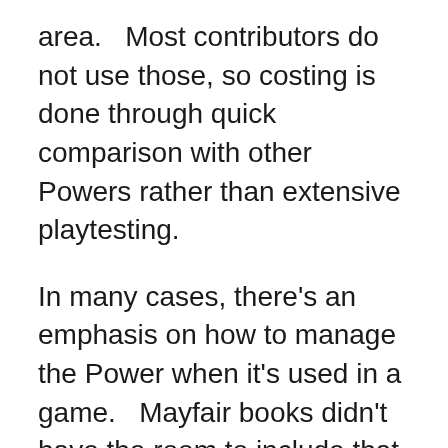area.   Most contributors do not use those, so costing is done through quick comparison with other Powers rather than extensive playtesting.
In many cases, there's an emphasis on how to manage the Power when it's used in a game.   Mayfair books didn't have the room to include that many examples, specific situations, use cases, etc..
Some Powers rules discussions have been stuck in system development hell